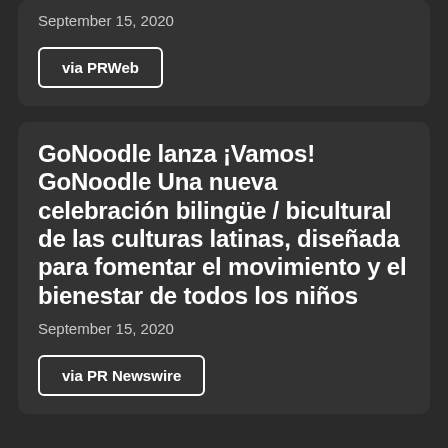September 15, 2020
via PRWeb
GoNoodle lanza ¡Vamos! GoNoodle Una nueva celebración bilingüe / bicultural de las culturas latinas, diseñada para fomentar el movimiento y el bienestar de todos los niños
September 15, 2020
via PR Newswire